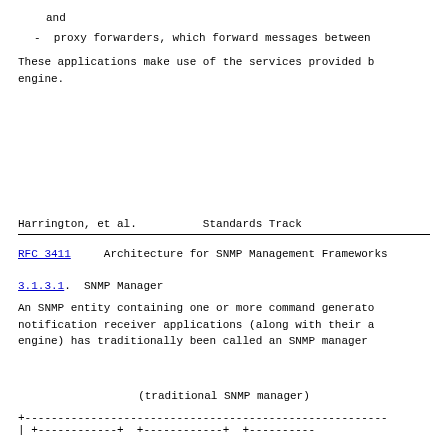and
-  proxy forwarders, which forward messages between
These applications make use of the services provided b engine.
Harrington, et al.          Standards Track
RFC 3411     Architecture for SNMP Management Frameworks
3.1.3.1.  SNMP Manager
An SNMP entity containing one or more command generato notification receiver applications (along with their a engine) has traditionally been called an SNMP manager
(traditional SNMP manager)
+------------------------------------------------------ | +------------+  +------------+  +----------